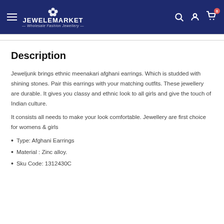JEWELEMARKET — Wholesale Fashion Jewellery
Description
Jeweljunk brings ethnic meenakari afghani earrings. Which is studded with shining stones. Pair this earrings with your matching outfits. These jewellery are durable. It gives you classy and ethnic look to all girls and give the touch of Indian culture.
It consists all needs to make your look comfortable. Jewellery are first choice for womens & girls
Type: Afghani Earrings
Material : Zinc alloy.
Sku Code: 1312430C